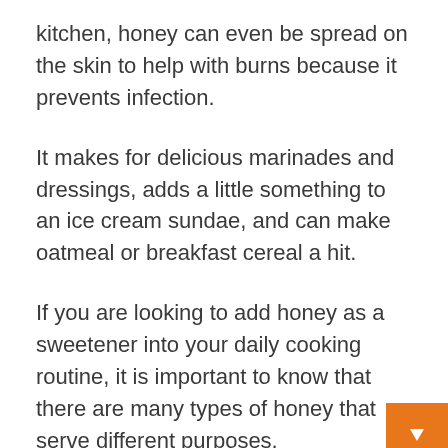kitchen, honey can even be spread on the skin to help with burns because it prevents infection.
It makes for delicious marinades and dressings, adds a little something to an ice cream sundae, and can make oatmeal or breakfast cereal a hit.
If you are looking to add honey as a sweetener into your daily cooking routine, it is important to know that there are many types of honey that serve different purposes.
Some are sweeter than others, and some are